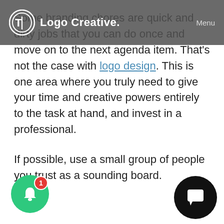Logo Creative. Menu
Some branding chores are quick and dirty jobs that you can do once and move on to the next agenda item. That's not the case with logo design. This is one area where you truly need to give your time and creative powers entirely to the task at hand, and invest in a professional.
If possible, use a small group of people you trust as a sounding board.